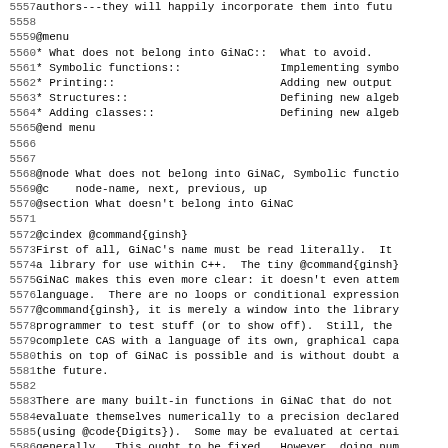5557 authors---they will happily incorporate them into futu
5558
5559 @menu
5560 * What does not belong into GiNaC::  What to avoid.
5561 * Symbolic functions::                Implementing symbo
5562 * Printing::                         Adding new output
5563 * Structures::                       Defining new algeb
5564 * Adding classes::                   Defining new algeb
5565 @end menu
5566
5567
5568 @node What does not belong into GiNaC, Symbolic functio
5569 @c    node-name, next, previous, up
5570 @section What doesn't belong into GiNaC
5571
5572 @cindex @command{ginsh}
5573 First of all, GiNaC's name must be read literally.  It
5574 a library for use within C++.  The tiny @command{ginsh}
5575 GiNaC makes this even more clear: it doesn't even attem
5576 language.  There are no loops or conditional expression
5577 @command{ginsh}, it is merely a window into the library
5578 programmer to test stuff (or to show off).  Still, the
5579 complete CAS with a language of its own, graphical capa
5580 this on top of GiNaC is possible and is without doubt a
5581 the future.
5582
5583 There are many built-in functions in GiNaC that do not
5584 evaluate themselves numerically to a precision declared
5585 (using @code{Digits}).  Some may be evaluated at certai
5586 generally.  This ought to be fixed.  However, doing num
5587 computations with GiNaC's quite abstract classes is doc
5588 inefficient.  For this purpose, the underlying foundati
5589